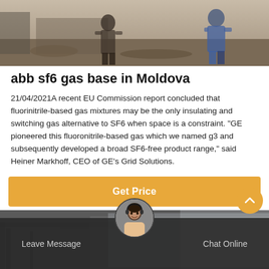[Figure (photo): Workers in industrial/construction setting, black and white toned photo, two figures visible]
abb sf6 gas base in Moldova
21/04/2021A recent EU Commission report concluded that fluorinitrile-based gas mixtures may be the only insulating and switching gas alternative to SF6 when space is a constraint. "GE pioneered this fluoronitrile-based gas which we named g3 and subsequently developed a broad SF6-free product range," said Heiner Markhoff, CEO of GE's Grid Solutions.
[Figure (other): Orange Get Price button]
[Figure (photo): Industrial/facility background photo behind bottom navigation bar]
Leave Message   Chat Online